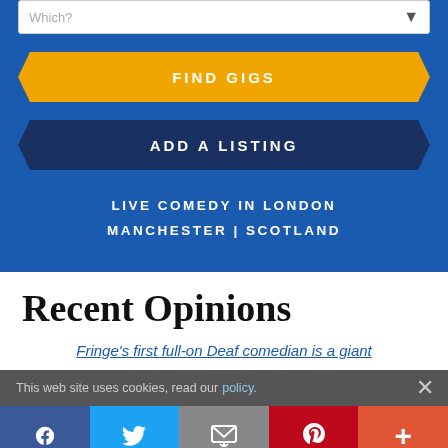[Figure (screenshot): Blue section with search bar at top showing 'Which?' placeholder, orange 'FIND GIGS' banner button, dark blue 'ADD A LISTING' banner button, and text links 'LIVE COMEDY IN LONDON' and 'MANCHESTER | SCOTLAND']
Recent Opinions
Fringe's first full-on Deaf comedian is a giant
This web site uses cookies, read our policy.
[Figure (infographic): Social share bar with Facebook, Twitter, Email, Pinterest, and More (+) buttons]